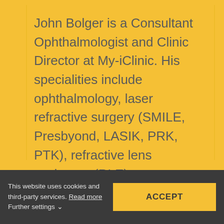John Bolger is a Consultant Ophthalmologist and Clinic Director at My-iClinic. His specialities include ophthalmology, laser refractive surgery (SMILE, Presbyond, LASIK, PRK, PTK), refractive lens exchange (RLE), cataract surgery, glaucoma treatment and macular degeneration.
This website uses cookies and third-party services. Read more
Further settings ∨